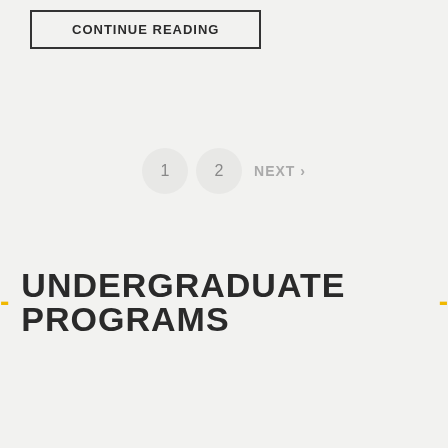CONTINUE READING
1  2  NEXT >
- UNDERGRADUATE PROGRAMS -